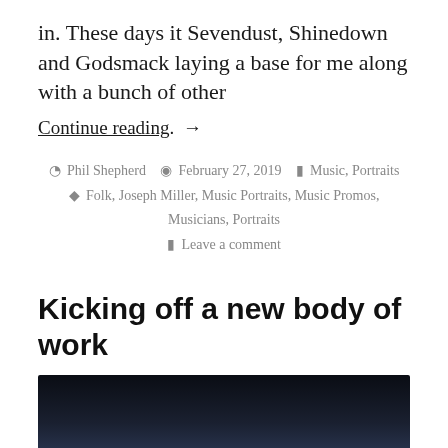in. These days it Sevendust, Shinedown and Godsmack laying a base for me along with a bunch of other
Continue reading. →
By Phil Shepherd   February 27, 2019   Music, Portraits   Tags: Folk, Joseph Miller, Music Portraits, Music Promos, Musicians, Portraits   Leave a comment
Kicking off a new body of work
[Figure (photo): Dark/night background image, mostly black with subtle dark blue gradient]